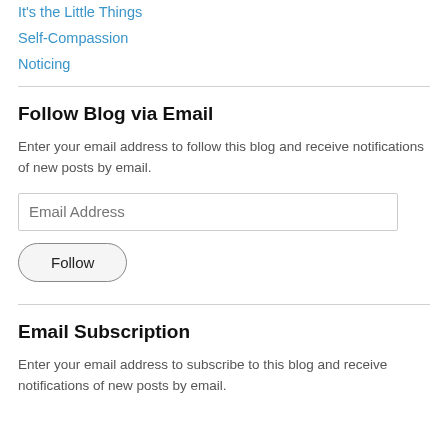It's the Little Things
Self-Compassion
Noticing
Follow Blog via Email
Enter your email address to follow this blog and receive notifications of new posts by email.
Email Subscription
Enter your email address to subscribe to this blog and receive notifications of new posts by email.